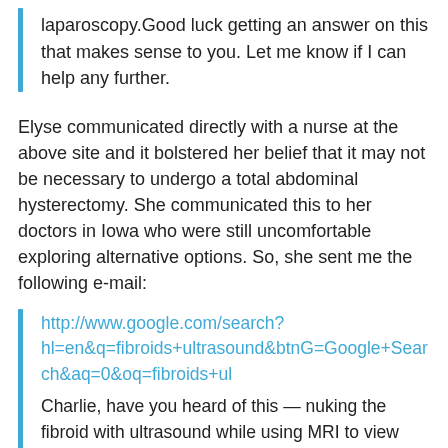laparoscopy.Good luck getting an answer on this that makes sense to you. Let me know if I can help any further.
Elyse communicated directly with a nurse at the above site and it bolstered her belief that it may not be necessary to undergo a total abdominal hysterectomy. She communicated this to her doctors in Iowa who were still uncomfortable exploring alternative options. So, she sent me the following e-mail:
http://www.google.com/search?hl=en&q=fibroids+ultrasound&btnG=Google+Search&aq=0&oq=fibroids+ul
Charlie, have you heard of this — nuking the fibroid with ultrasound while using MRI to view and target the waves? Just learned of it today.